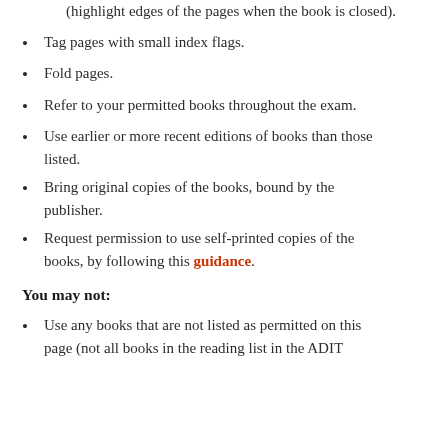(highlight edges of the pages when the book is closed).
Tag pages with small index flags.
Fold pages.
Refer to your permitted books throughout the exam.
Use earlier or more recent editions of books than those listed.
Bring original copies of the books, bound by the publisher.
Request permission to use self-printed copies of the books, by following this guidance.
You may not:
Use any books that are not listed as permitted on this page (not all books in the reading list in the ADIT